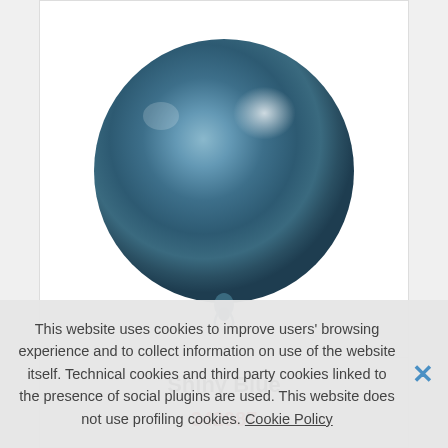[Figure (photo): Shiny blue chrome metallic balloon, large round, labeled SHINYBLUE #092 in white text near the top]
Shiny Blue
342987
This website uses cookies to improve users' browsing experience and to collect information on use of the website itself. Technical cookies and third party cookies linked to the presence of social plugins are used. This website does not use profiling cookies. Cookie Policy